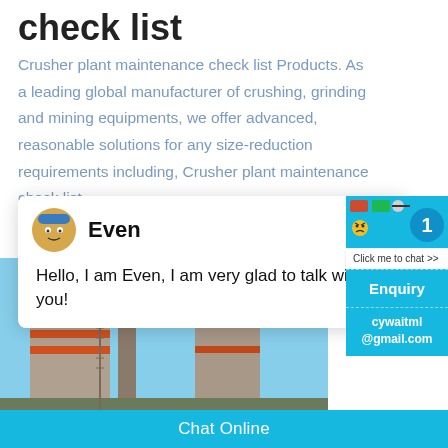check list
Crusher plant maintenance check list Products. As a leading global manufacturer of crushing, grinding and mining equipments, we offer advanced, reasonable solutions for any size-reduction requirements including, Crusher plant maintenance check list,
[Figure (screenshot): Chat popup widget with avatar of 'Even' and message: Hello, I am Even, I am very glad to talk with you!]
[Figure (photo): Industrial crusher plant with large cylindrical silos/storage tanks against blue sky with clouds]
[Figure (screenshot): Floating chat widget with badge showing '1', Click me to chat button, Enquiry section, and cywaitml@gmail.com email]
Chat Online
cywaitml @gmail.com